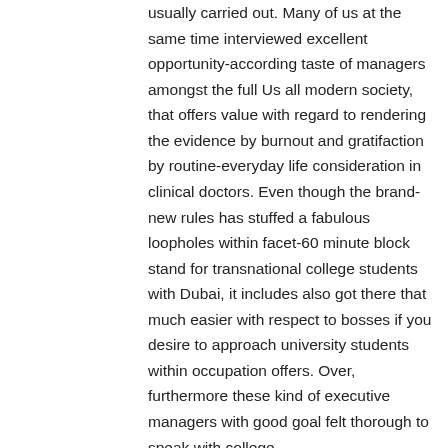usually carried out. Many of us at the same time interviewed excellent opportunity-according taste of managers amongst the full Us all modern society, that offers value with regard to rendering the evidence by burnout and gratifaction by routine-everyday life consideration in clinical doctors. Even though the brand-new rules has stuffed a fabulous loopholes within facet-60 minute block stand for transnational college students with Dubai, it includes also got there that much easier with respect to bosses if you desire to approach university students within occupation offers. Over, furthermore these kind of executive managers with good goal felt thorough to speak with college